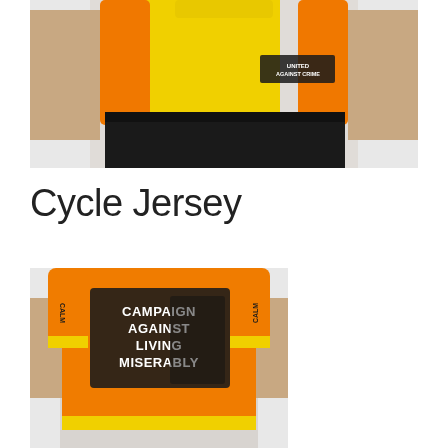[Figure (photo): Front view of a person wearing a yellow and orange cycling jersey with 'UNITED AGAINST CRIME' text and black shorts]
Cycle Jersey
[Figure (photo): Back view of a person wearing an orange cycling jersey with 'CAMPAIGN AGAINST LIVING MISERABLY' text printed on the back]